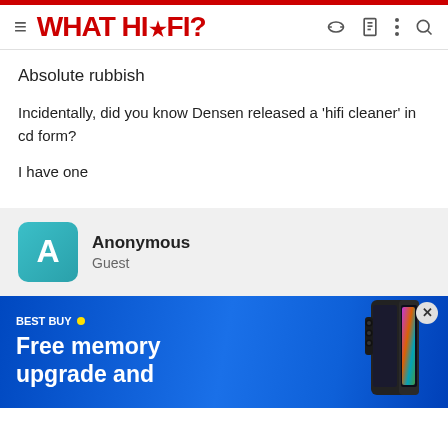WHAT HI-FI?
Absolute rubbish
Incidentally, did you know Densen released a 'hifi cleaner' in cd form?

I have one
Anonymous
Guest
[Figure (infographic): Best Buy advertisement banner with 'Free memory upgrade and' text and a Samsung Galaxy Z Fold phone image on a blue gradient background]